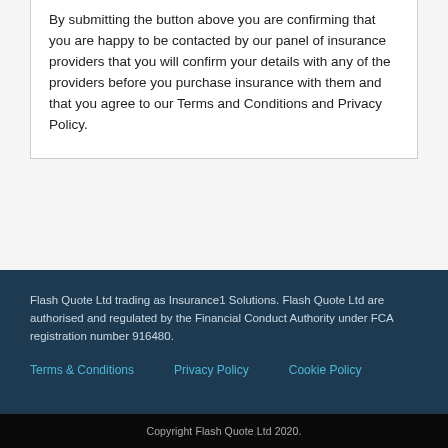By submitting the button above you are confirming that you are happy to be contacted by our panel of insurance providers that you will confirm your details with any of the providers before you purchase insurance with them and that you agree to our Terms and Conditions and Privacy Policy.
Flash Quote Ltd trading as Insurance1 Solutions. Flash Quote Ltd are authorised and regulated by the Financial Conduct Authority under FCA registration number 916480.
Terms & Conditions   Privacy Policy   Cookie Policy
Copyright Flash Quote Ltd 2020.